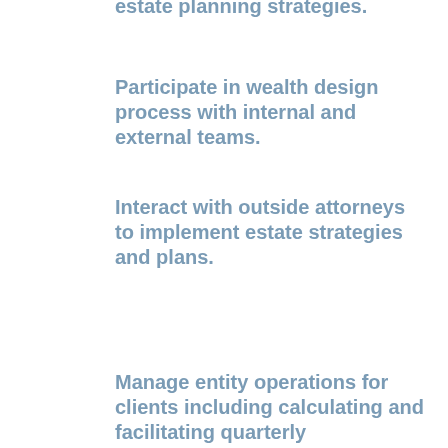estate planning strategies.
Participate in wealth design process with internal and external teams.
Interact with outside attorneys to implement estate strategies and plans.
Manage entity operations for clients including calculating and facilitating quarterly distributions, annuity payments, CLAT gifts, family limited partnership distributions, etc.
Ensure distributions are made in a